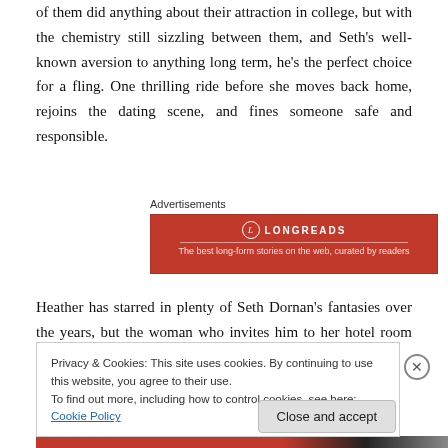of them did anything about their attraction in college, but with the chemistry still sizzling between them, and Seth’s well-known aversion to anything long term, he’s the perfect choice for a fling. One thrilling ride before she moves back home, rejoins the dating scene, and fines someone safe and responsible.
Advertisements
[Figure (other): Longreads advertisement banner in red with circular logo and brand name LONGREADS]
Heather has starred in plenty of Seth Dornan’s fantasies over the years, but the woman who invites him to her hotel room after a
Privacy & Cookies: This site uses cookies. By continuing to use this website, you agree to their use.
To find out more, including how to control cookies, see here: Cookie Policy
Close and accept